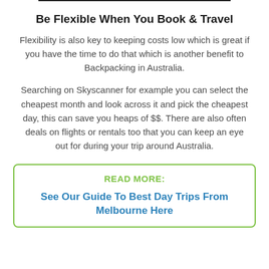Be Flexible When You Book & Travel
Flexibility is also key to keeping costs low which is great if you have the time to do that which is another benefit to Backpacking in Australia.
Searching on Skyscanner for example you can select the cheapest month and look across it and pick the cheapest day, this can save you heaps of $$. There are also often deals on flights or rentals too that you can keep an eye out for during your trip around Australia.
READ MORE:

See Our Guide To Best Day Trips From Melbourne Here